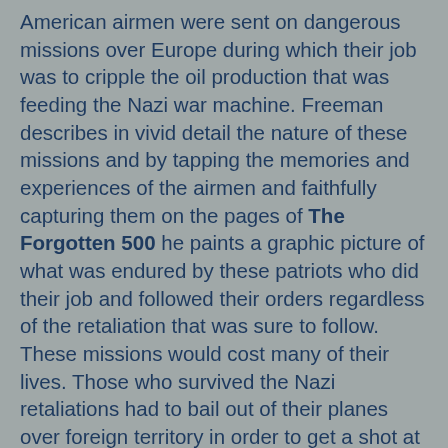American airmen were sent on dangerous missions over Europe during which their job was to cripple the oil production that was feeding the Nazi war machine. Freeman describes in vivid detail the nature of these missions and by tapping the memories and experiences of the airmen and faithfully capturing them on the pages of The Forgotten 500 he paints a graphic picture of what was endured by these patriots who did their job and followed their orders regardless of the retaliation that was sure to follow. These missions would cost many of their lives. Those who survived the Nazi retaliations had to bail out of their planes over foreign territory in order to get a shot at survival and they did so, not knowing what their fate would be. Their desperation landed them in the hills of Yugoslavia, mainly in Serbia, enemy occupied territory that was, luckily for them, also the land of General Draza Mihailovich, his Chetnik forces, and the peasants who were loyal to them. When they landed in the hills and forests of Serbia, the airmen were now among freedom fighters, loyal above all else, to the democratic Allies, though they did not know it as they fell. Among the hundreds who fell, most were Americans.